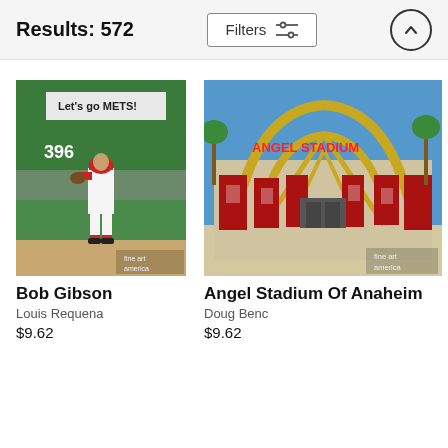Results: 572
Filters
[Figure (photo): Bob Gibson pitching, Cardinals uniform, stadium background with 'Let's go METS' sign, number 396 visible]
Bob Gibson
Louis Requena
$9.62
[Figure (photo): Angel Stadium of Anaheim exterior, wide-angle view showing the stadium entrance with golden arches and red banners, fine art america watermark]
Angel Stadium Of Anaheim
Doug Benc
$9.62